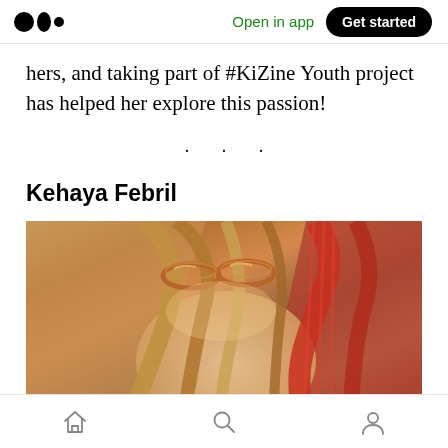Medium logo | Open in app | Get started
hers, and taking part of #KiZine Youth project has helped her explore this passion!
· · ·
Kehaya Febril
[Figure (photo): Close-up photo of a young woman with blonde hair wearing goggles or decorative hair accessories, with colorful background]
Navigation bar with home, search, and profile icons